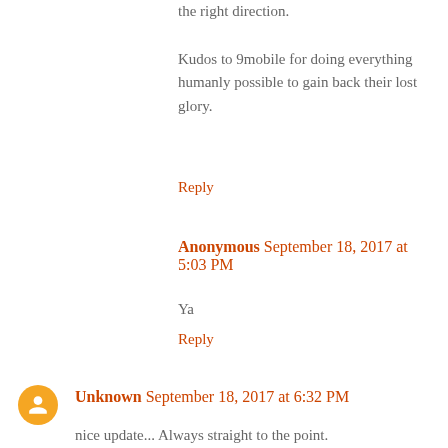the right direction.
Kudos to 9mobile for doing everything humanly possible to gain back their lost glory.
Reply
Anonymous September 18, 2017 at 5:03 PM
Ya
Reply
Unknown September 18, 2017 at 6:32 PM
nice update... Always straight to the point.